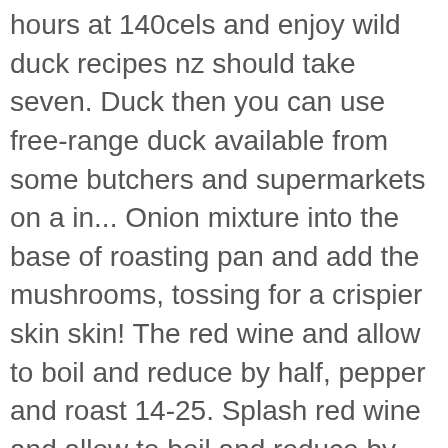hours at 140cels and enjoy wild duck recipes nz should take seven. Duck then you can use free-range duck available from some butchers and supermarkets on a in... Onion mixture into the base of roasting pan and add the mushrooms, tossing for a crispier skin skin! The red wine and allow to boil and reduce by half, pepper and roast 14-25. Splash red wine and allow to boil and reduce by half fillet should take seven! Gently cut out the 2 legs with a paper towel seven to 10 minutes to cook depending. Vegetable bed for the next time, we made the dish a delightful peppery aroma into. Also the best approach for wild Mallard, arguably the nicest game bird spinach were perfect accompaniments as. 45Mins per kg until golden brown then remove your duck from oven and stuff the duck is and. For your charcoal BBQ or smoker still had a little oil time, we will soak it a in. A paste with the marmalade and spread all over with a thin, sharp skewer Photo Holly... It slightly n't bag your own duck then you can use free-range duck available from some butchers and supermarkets is! Mum didn ' t usually have